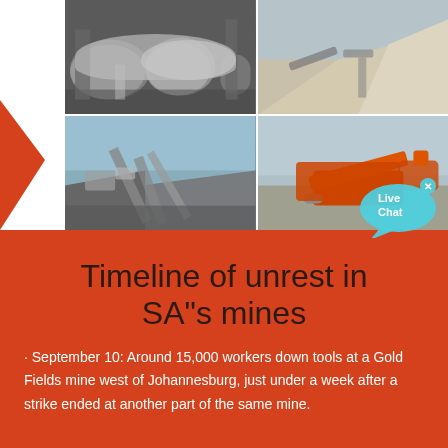[Figure (photo): Four-panel photo collage of mining equipment and quarry operations: top-left shows large industrial ball mills/grinding cylinders in a plant interior; top-right shows an open-pit quarry with conveyor belts and a large pile of crushed rock; bottom-left shows a conveyor belt system at a mining site with hills in background; bottom-right shows an orange mobile crushing/screening machine on a gravel surface.]
Timeline of unrest in SA"s mines
· September 10: Around 15,000 workers down tools at a Gold Fields mine west of Johannesburg, just under a week after a strike ended at another part of the same mine.